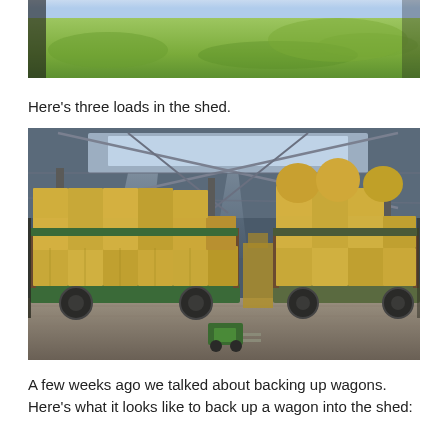[Figure (photo): Partial view of a green field / grass landscape, top portion of an outdoor photo cropped at the top of the page.]
Here's three loads in the shed.
[Figure (photo): Interior of an agricultural shed with hay wagons loaded with straw bales. Two large wagons side by side, metal roof structure visible overhead with light coming through skylights.]
A few weeks ago we talked about backing up wagons. Here's what it looks like to back up a wagon into the shed: